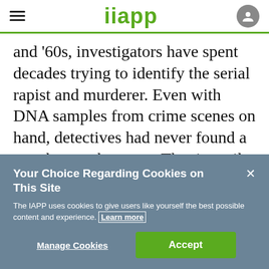iapp
and '60s, investigators have spent decades trying to identify the serial rapist and murderer. Even with DNA samples from crime scenes on hand, detectives had never found a match over the years. That is until Paul Holes, an investigator and DNA expert, used a consumer-facing DNA-
Your Choice Regarding Cookies on This Site
The IAPP uses cookies to give users like yourself the best possible content and experience. Learn more
Manage Cookies
Accept